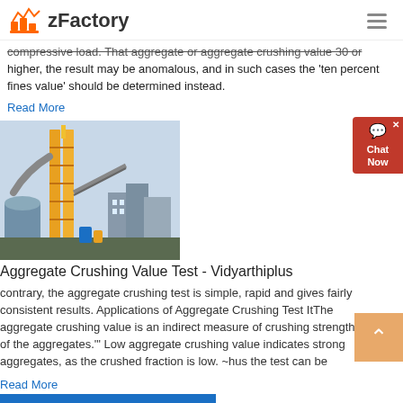zFactory
compressive load. That aggregate or aggregate crushing value 30 or higher, the result may be anomalous, and in such cases the ‘ten percent fines value’ should be determined instead.
Read More
[Figure (photo): Industrial factory/aggregate crushing plant with yellow scaffolding, silos, conveyors and industrial buildings]
Aggregate Crushing Value Test - Vidyarthiplus
contrary, the aggregate crushing test is simple, rapid and gives fairly consistent results. Applications of Aggregate Crushing Test ItThe aggregate crushing value is an indirect measure of crushing strength of the aggregates.'" Low aggregate crushing value indicates strong aggregates, as the crushed fraction is low. ~hus the test can be
Read More